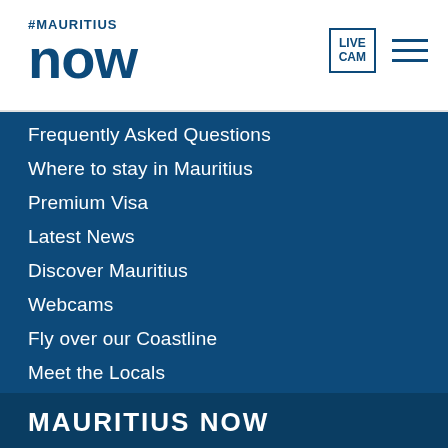#MAURITIUS now
Frequently Asked Questions
Where to stay in Mauritius
Premium Visa
Latest News
Discover Mauritius
Webcams
Fly over our Coastline
Meet the Locals
MAURITIUS NOW